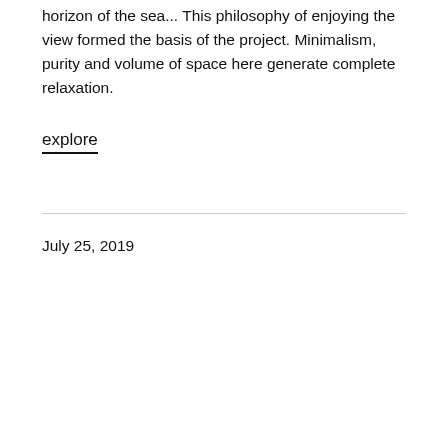horizon of the sea... This philosophy of enjoying the view formed the basis of the project. Minimalism, purity and volume of space here generate complete relaxation.
explore
July 25, 2019